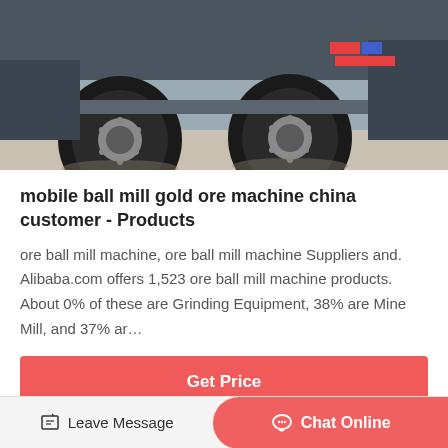[Figure (photo): Close-up photo of truck/semi-trailer axle with large black tires, grey metal chassis, and colorful markings visible in the background]
mobile ball mill gold ore machine china customer - Products
ore ball mill machine, ore ball mill machine Suppliers and. Alibaba.com offers 1,523 ore ball mill machine products. About 0% of these are Grinding Equipment, 38% are Mine Mill, and 37% ar…
Get Price
[Figure (photo): Partially visible product image, light blue/white background with some machinery visible at bottom left]
Leave Message
Chat Online